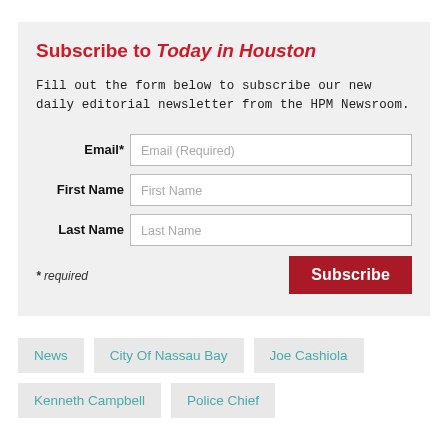Subscribe to Today in Houston
Fill out the form below to subscribe our new daily editorial newsletter from the HPM Newsroom.
Email* Email (Required)
First Name First Name
Last Name Last Name
* required
Subscribe
News
City Of Nassau Bay
Joe Cashiola
Kenneth Campbell
Police Chief